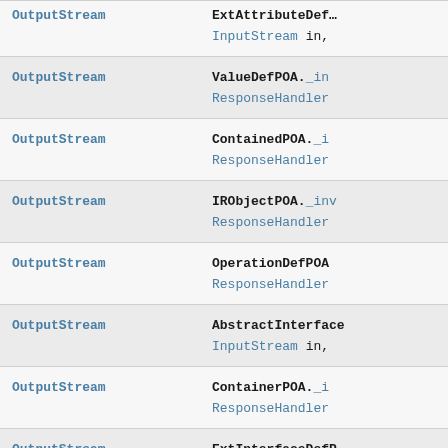| Return type | Function signature |
| --- | --- |
| OutputStream | ExtAttributeDefi... InputStream in, |
| OutputStream | ValueDefPOA._in
ResponseHandler |
| OutputStream | ContainedPOA._i
ResponseHandler |
| OutputStream | IRObjectPOA._inv
ResponseHandler |
| OutputStream | OperationDefPOA
ResponseHandler |
| OutputStream | AbstractInterface
InputStream in, |
| OutputStream | ContainerPOA._i
ResponseHandler |
| OutputStream | ExtInterfaceDefP
InputStream in, |
| OutputStream | ExtValueDefPOA.
ResponseHandler |
| OutputStream | InterfaceDefPOA... |